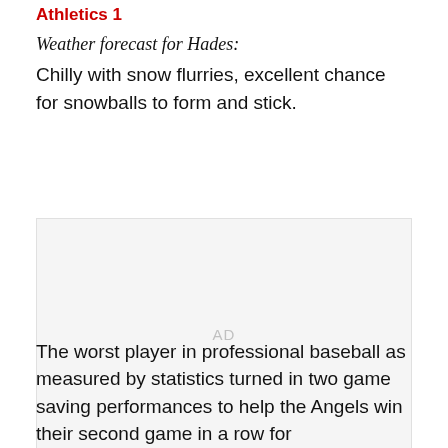Athletics 1
Weather forecast for Hades:
Chilly with snow flurries, excellent chance for snowballs to form and stick.
[Figure (other): Advertisement placeholder area with 'AD' label in light gray on a light gray background.]
The worst player in professional baseball as measured by statistics turned in two game saving performances to help the Angels win their second game in a row for